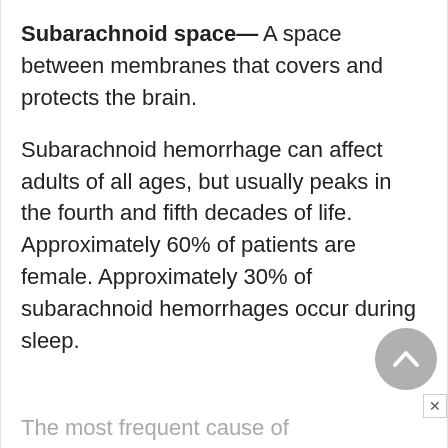Subarachnoid space— A space between membranes that covers and protects the brain.
Subarachnoid hemorrhage can affect adults of all ages, but usually peaks in the fourth and fifth decades of life. Approximately 60% of patients are female. Approximately 30% of subarachnoid hemorrhages occur during sleep.
The most frequent cause of subarachnoid...